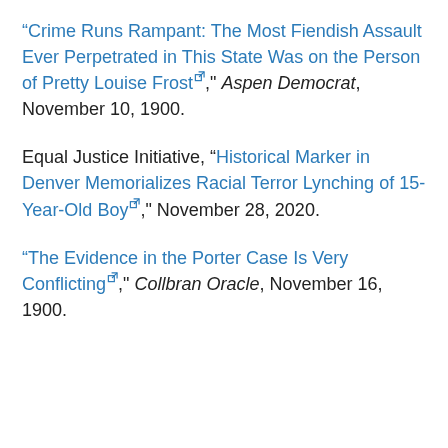“Crime Runs Rampant: The Most Fiendish Assault Ever Perpetrated in This State Was on the Person of Pretty Louise Frost↗,” Aspen Democrat, November 10, 1900.
Equal Justice Initiative, “Historical Marker in Denver Memorializes Racial Terror Lynching of 15-Year-Old Boy↗,” November 28, 2020.
“The Evidence in the Porter Case Is Very Conflicting↗,” Collbran Oracle, November 16, 1900.